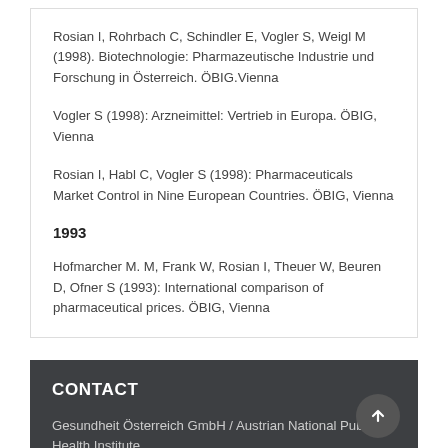Rosian I, Rohrbach C, Schindler E, Vogler S, Weigl M (1998). Biotechnologie: Pharmazeutische Industrie und Forschung in Österreich. ÖBIG.Vienna
Vogler S (1998): Arzneimittel: Vertrieb in Europa. ÖBIG, Vienna
Rosian I, Habl C, Vogler S (1998): Pharmaceuticals Market Control in Nine European Countries. ÖBIG, Vienna
1993
Hofmarcher M. M, Frank W, Rosian I, Theuer W, Beuren D, Ofner S (1993): International comparison of pharmaceutical prices. ÖBIG, Vienna
CONTACT
Gesundheit Österreich GmbH / Austrian National Public Health Institute